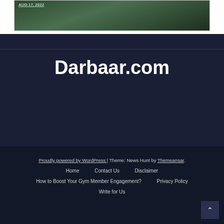[Figure (photo): Partial image of coins/money stacked on a surface with a date caption 'AUG 17, 2022' visible at top left]
Darbaar.com
Proudly powered by WordPress | Theme: News Hunt by Themeansar. Home   Contact Us   Disclaimer   How to Boost Your Gym Member Engagement?   Privacy Policy   Write for Us